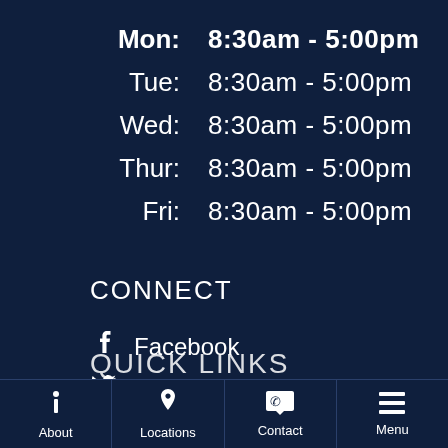| Day | Hours |
| --- | --- |
| Mon: | 8:30am - 5:00pm |
| Tue: | 8:30am - 5:00pm |
| Wed: | 8:30am - 5:00pm |
| Thur: | 8:30am - 5:00pm |
| Fri: | 8:30am - 5:00pm |
CONNECT
Facebook
Twitter
QUICK LINKS
About  Locations  Contact  Menu